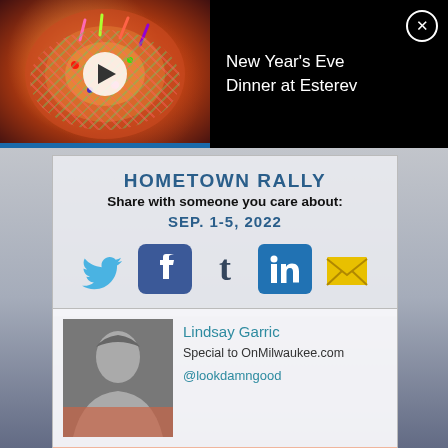[Figure (screenshot): Video thumbnail showing colorful food item (donut/pizza with sprinkles) with play button overlay on black background]
New Year's Eve Dinner at Esterev
[Figure (infographic): Share overlay card with HOMETOWN RALLY and SEP. 1-5, 2022 text over rally background image with social icons: Twitter, Facebook, Tumblr, LinkedIn, Email]
Share with someone you care about:
Lindsay Garric
Special to OnMilwaukee.com
@lookdamngood
PLAN YOUR VISIT